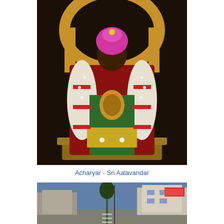[Figure (photo): A decorated Hindu deity idol (Sri Aalavandar/Yamuna Muni/Acharyar) adorned with flower garlands, colorful silk garments, gold ornaments, and a pink crown, seated on a throne with a golden arch backdrop]
Acharyar - Sri Aalavandar
[Figure (photo): A street scene showing buildings, shops, and a road, likely near a temple town in South India]